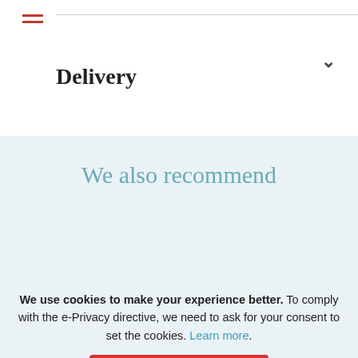Delivery
We also recommend
[Figure (illustration): Children's Cute Forest themed product image thumbnail showing trees with green and teal colors]
Children's Cute Forest
We use cookies to make your experience better. To comply with the e-Privacy directive, we need to ask for your consent to set the cookies. Learn more.
Allow Cookies